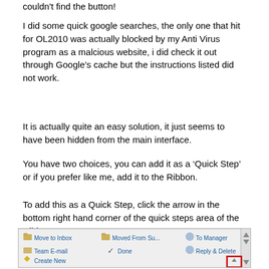couldn't find the button!
I did some quick google searches, the only one that hit for OL2010 was actually blocked by my Anti Virus program as a malcious website, i did check it out through Google's cache but the instructions listed did not work.
It is actually quite an easy solution, it just seems to have been hidden from the main interface.
You have two choices, you can add it as a ‘Quick Step’ or if you prefer like me, add it to the Ribbon.
To add this as a Quick Step, click the arrow in the bottom right hand corner of the quick steps area of the Ribbon
[Figure (screenshot): Screenshot of Microsoft Outlook Ribbon showing Quick Steps area with options: Move to Inbox, Moved From Su..., To Manager, Team E-mail, Done, Reply & Delete, Create New. A red box highlights the bottom-right corner arrow button.]